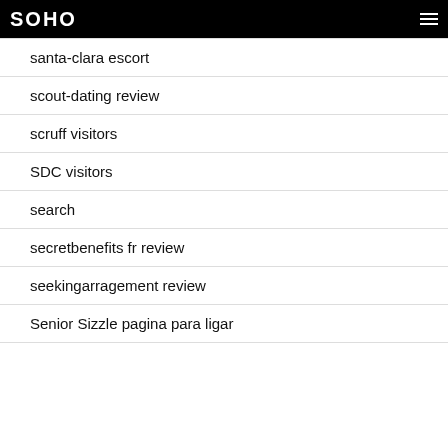SOHO
santa-clara escort
scout-dating review
scruff visitors
SDC visitors
search
secretbenefits fr review
seekingarragement review
Senior Sizzle pagina para ligar